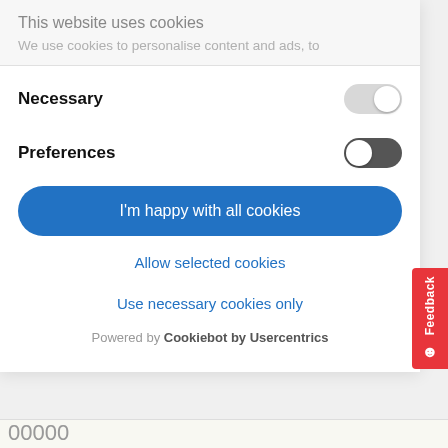Tuition fees
This website uses cookies
We use cookies to personalise content and ads, to
Necessary
Preferences
I'm happy with all cookies
Allow selected cookies
Use necessary cookies only
Powered by Cookiebot by Usercentrics